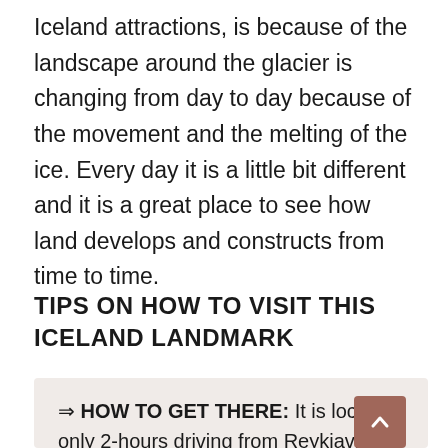Iceland attractions, is because of the landscape around the glacier is changing from day to day because of the movement and the melting of the ice. Every day it is a little bit different and it is a great place to see how land develops and constructs from time to time.
TIPS ON HOW TO VISIT THIS ICELAND LANDMARK
⇒ HOW TO GET THERE: It is located only 2-hours driving from Reykjavik. It is one of the most